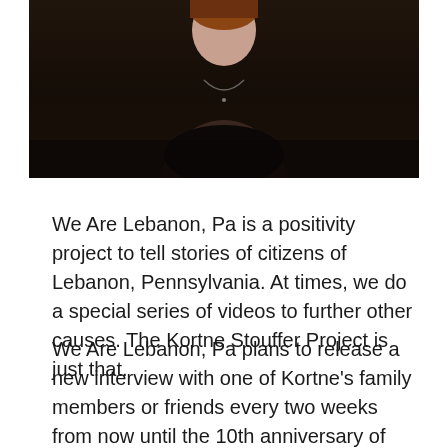[Figure (photo): A person wearing a black outfit with a necklace, photographed against a dark background. Only the upper body and face are partially visible at the top of the frame.]
We Are Lebanon, Pa is a positivity project to tell stories of citizens of Lebanon, Pennsylvania. At times, we do a special series of videos to further other causes. The Kortne Stouffer Project is just that.
We Are Lebanon, Pa plans to release a new interview with one of Kortne's family members or friends every two weeks from now until the 10th anniversary of her disappearance. The hope is that these stories might reach someone who has information, any information, that might lead to